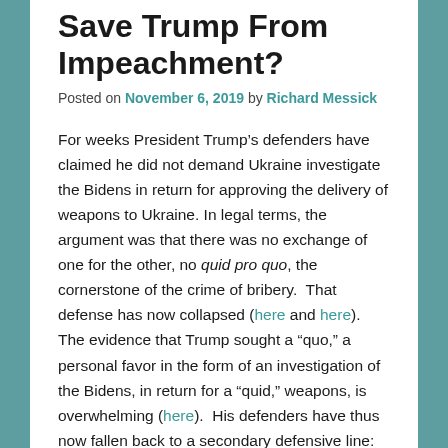Save Trump From Impeachment?
Posted on November 6, 2019 by Richard Messick
For weeks President Trump’s defenders have claimed he did not demand Ukraine investigate the Bidens in return for approving the delivery of weapons to Ukraine. In legal terms, the argument was that there was no exchange of one for the other, no quid pro quo, the cornerstone of the crime of bribery.  That defense has now collapsed (here and here). The evidence that Trump sought a “quo,” a personal favor in the form of an investigation of the Bidens, in return for a “quid,” weapons, is overwhelming (here).  His defenders have thus now fallen back to a secondary defensive line: there was a quid pro quo but it was merely an “inappropriate” one. It was not, defenders insist, an impeachable quid pro quo.
Whether this new defense will carry the day remains to be seen.  No American president has ever faced